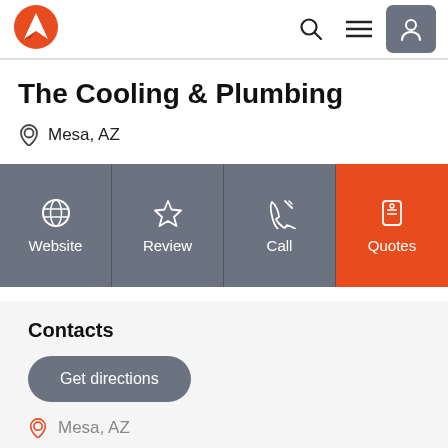The Cooling & Plumbing - Mesa, AZ
The Cooling & Plumbing
Mesa, AZ
[Figure (screenshot): Action bar with four buttons: Website, Review, Call, Quotes (orange)]
Contacts
Get directions
Mesa, AZ